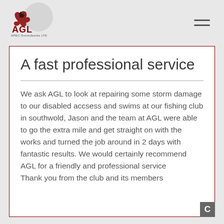[Figure (logo): AGL (APEC Groundworks Ltd) logo in red and black with eagle icon]
A fast professional service
We ask AGL to look at repairing some storm damage to our disabled accsess and swims at our fishing club in southwold, Jason and the team at AGL were able to go the extra mile and get straight on with the works and turned the job around in 2 days with fantastic results. We would certainly recommend AGL for a friendly and professional service
Thank you from the club and its members